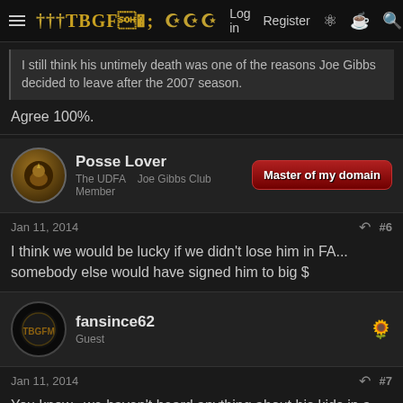TBGFM | Log in  Register
I still think his untimely death was one of the reasons Joe Gibbs decided to leave after the 2007 season.
Agree 100%.
Posse Lover
The UDFA   Joe Gibbs Club Member
Master of my domain
Jan 11, 2014  #6
I think we would be lucky if we didn't lose him in FA... somebody else would have signed him to big $
fansince62
Guest
Jan 11, 2014  #7
You know...we haven't heard anything about his kids in a long